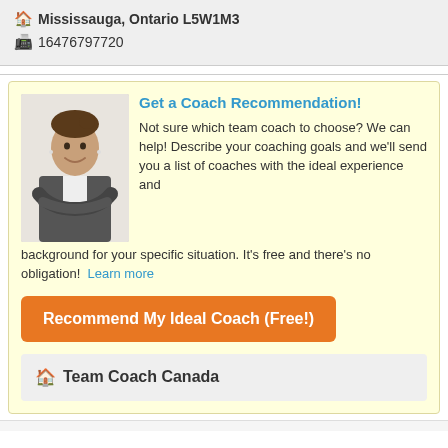Mississauga, Ontario L5W1M3
16476797720
Get a Coach Recommendation!
Not sure which team coach to choose? We can help! Describe your coaching goals and we'll send you a list of coaches with the ideal experience and background for your specific situation. It's free and there's no obligation!  Learn more
Recommend My Ideal Coach (Free!)
Team Coach Canada